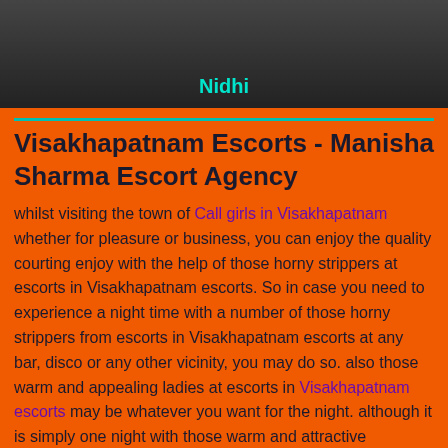[Figure (photo): Photo of a person named Nidhi with dark background]
Visakhapatnam Escorts - Manisha Sharma Escort Agency
whilst visiting the town of Call girls in Visakhapatnam whether for pleasure or business, you can enjoy the quality courting enjoy with the help of those horny strippers at escorts in Visakhapatnam escorts. So in case you need to experience a night time with a number of those horny strippers from escorts in Visakhapatnam escorts at any bar, disco or any other vicinity, you may do so. also those warm and appealing ladies at escorts in Visakhapatnam escorts may be whatever you want for the night. although it is simply one night with those warm and attractive strippers, you may in no way forget this night on your existence time for sure.